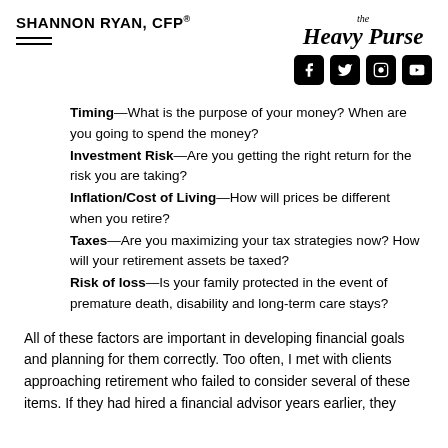SHANNON RYAN, CFP®
[Figure (logo): The Heavy Purse logo with social media icons (Facebook, Twitter, Instagram, YouTube)]
Timing—What is the purpose of your money? When are you going to spend the money?
Investment Risk—Are you getting the right return for the risk you are taking?
Inflation/Cost of Living—How will prices be different when you retire?
Taxes—Are you maximizing your tax strategies now? How will your retirement assets be taxed?
Risk of loss—Is your family protected in the event of premature death, disability and long-term care stays?
All of these factors are important in developing financial goals and planning for them correctly. Too often, I met with clients approaching retirement who failed to consider several of these items. If they had hired a financial advisor years earlier, they